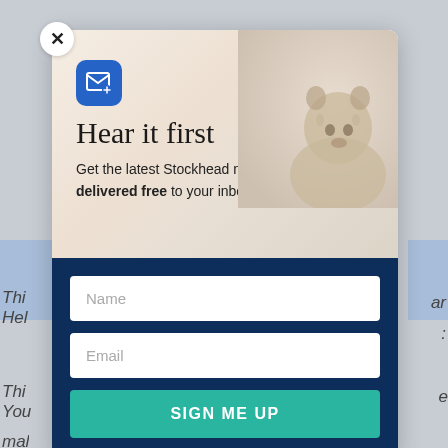[Figure (screenshot): Newsletter signup modal popup overlay on a webpage. Modal has a close (X) button, a top section with a groundhog/prairie dog background image, email icon, title 'Hear it first', subtitle text, and a navy blue bottom section with Name input, Email input, and a teal 'SIGN ME UP' button.]
Hear it first
Get the latest Stockhead news delivered free to your inbox.
Name
Email
SIGN ME UP